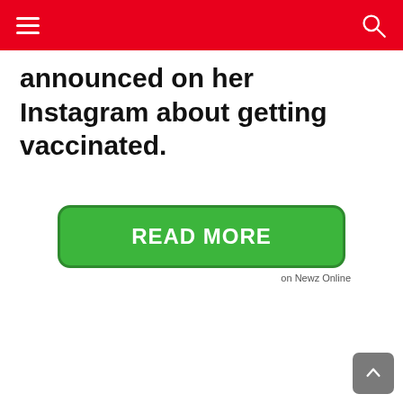announced on her Instagram about getting vaccinated.
READ MORE on Newz Online